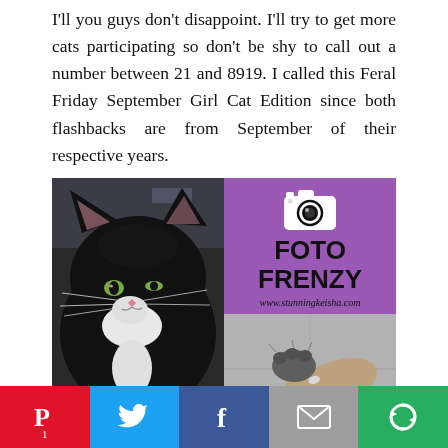I'll you guys don't disappoint. I'll try to get more cats participating so don't be shy to call out a number between 21 and 8919. I called this Feral Friday September Girl Cat Edition since both flashbacks are from September of their respective years.
[Figure (photo): Close-up photo of a black and white tuxedo cat looking sideways, with green eyes and white whiskers]
[Figure (logo): Foto Frenzy logo on purple background with camera icon and website URL www.stunningkeisha.com]
[Figure (photo): Black and white photo of a cat paw being held by a human hand]
Social share buttons: Pinterest (1), Twitter, Facebook, Email, More